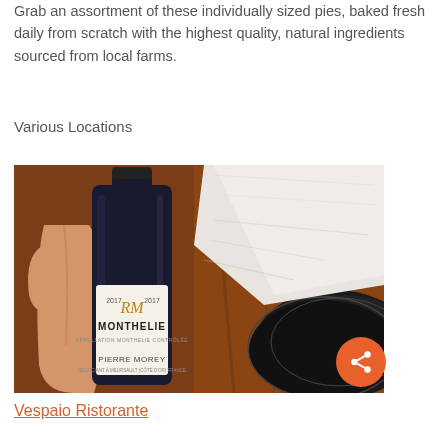Grab an assortment of these individually sized pies, baked fresh daily from scratch with the highest quality, natural ingredients sourced from local farms.
Various Locations
[Figure (photo): A hand holding a bottle of 2017 Pierre Morey Monthelie wine, with a white folded napkin and dark plates in the background on a wooden table.]
Vespaio Ristorante